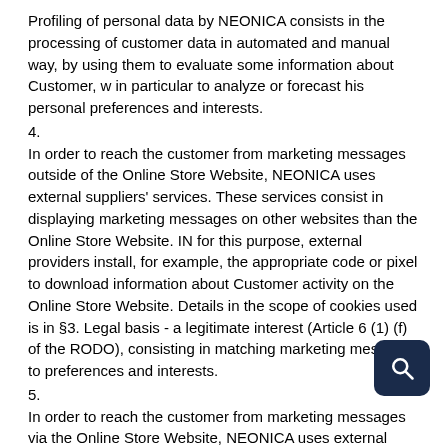Profiling of personal data by NEONICA consists in the processing of customer data in automated and manual way, by using them to evaluate some information about Customer, w in particular to analyze or forecast his personal preferences and interests.
4.
In order to reach the customer from marketing messages outside of the Online Store Website, NEONICA uses external suppliers' services. These services consist in displaying marketing messages on other websites than the Online Store Website. IN for this purpose, external providers install, for example, the appropriate code or pixel to download information about Customer activity on the Online Store Website. Details in the scope of cookies used is in §3. Legal basis - a legitimate interest (Article 6 (1) (f) of the RODO), consisting in matching marketing messages to preferences and interests.
5.
In order to reach the customer from marketing messages via the Online Store Website, NEONICA uses external suppliers' services. These services consist in displaying marketing messages on the Online Store's Websites. IN for this purpose, external providers install, for example, the appropriate code or pixel to download information about Customer activity on the Online Store Website. Details in the scope of cookies used is in §3. Legal basis - a legitimate interest (Article 6 (1) (f) of the RODO), consisting in matching marketing messages to preferences and interests.